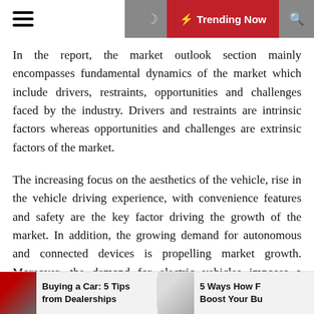☰   🌙  ⚡ Trending Now  🔍
In the report, the market outlook section mainly encompasses fundamental dynamics of the market which include drivers, restraints, opportunities and challenges faced by the industry. Drivers and restraints are intrinsic factors whereas opportunities and challenges are extrinsic factors of the market.
The increasing focus on the aesthetics of the vehicle, rise in the vehicle driving experience, with convenience features and safety are the key factor driving the growth of the market. In addition, the growing demand for autonomous and connected devices is propelling market growth. Moreover, the demand for electric vehicles imposes a positive outlook on the market. However, the issues related to the power consumption, cost associated with the HMI system are some factors expected to
Buying a Car: 5 Tips from Dealerships   5 Ways How F Boost Your Bu